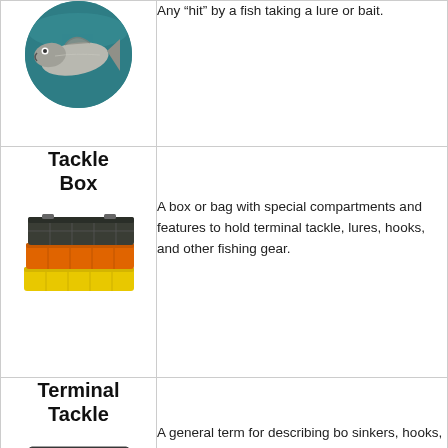[Figure (photo): Circular photo of a fish underwater near the surface, teal/blue water background]
Any “hit” by a fish taking a lure or bait.
Tackle Box
[Figure (photo): Stack of three tackle boxes (dark grey, orange, yellow) with compartments visible]
A box or bag with special compartments and features to hold terminal tackle, lures, hooks, and other fishing gear.
Terminal Tackle
[Figure (photo): A tackle box open showing various fishing gear inside]
A general term for describing bo sinkers, hooks, rigs, snaps, swivel other gear used at the end of a line.
[Figure (illustration): Dark circular shape like a ring of rope or line in bottom right corner]